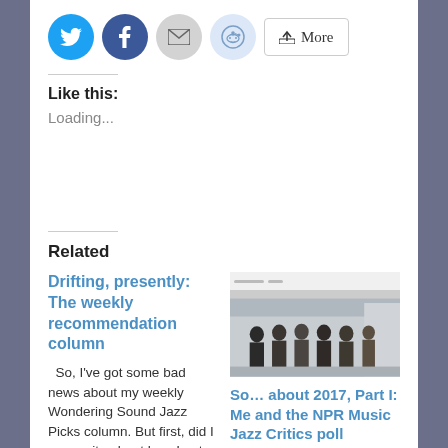[Figure (infographic): Social sharing buttons row: Twitter (blue circle), Facebook (blue circle), Email (gray circle), Reddit (light blue circle), and a More button]
Like this:
Loading...
Related
Drifting, presently: The weekly recommendation column
So, I've got some bad news about my weekly Wondering Sound Jazz Picks column. But first, did I ever write about how I got
December 16, 2014
In "Announcement - Music"
[Figure (photo): Thumbnail of a blog post showing a small header area and a photo of a group of people standing together indoors]
So… about 2017, Part I: Me and the NPR Music Jazz Critics poll
January 3, 2018
In "Essays & Columns & Lists"